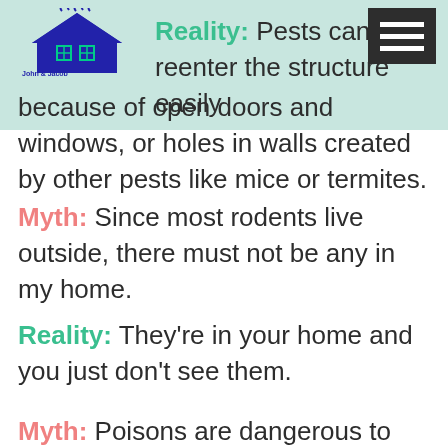[Figure (logo): John & Jacob Pest Control Institute logo — blue house icon with steam/lines, company name below]
Reality: Pests can reenter the structure easily because of open doors and windows, or holes in walls created by other pests like mice or termites.
Myth: Since most rodents live outside, there must not be any in my home.
Reality: They're in your home and you just don't see them.
Myth: Poisons are dangerous to pets and children, so I should deal with pests myself.
Reality: You may not see or experience the damage